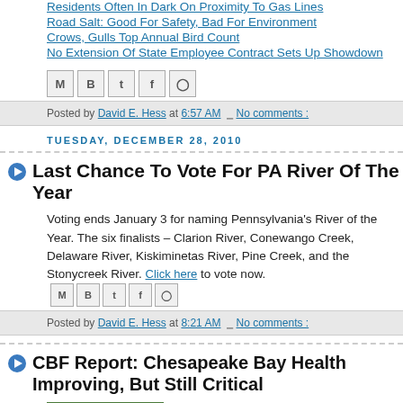Residents Often In Dark On Proximity To Gas Lines
Road Salt: Good For Safety, Bad For Environment
Crows, Gulls Top Annual Bird Count
No Extension Of State Employee Contract Sets Up Showdown
Posted by David E. Hess at 6:57 AM  No comments :
TUESDAY, DECEMBER 28, 2010
Last Chance To Vote For PA River Of The Year
Voting ends January 3 for naming Pennsylvania's River of the Year. The six finalists – Clarion River, Conewango Creek, Delaware River, Kiskiminetas River, Pine Creek, and the Stonycreek River. Click here to vote now.
Posted by David E. Hess at 8:21 AM  No comments :
CBF Report: Chesapeake Bay Health Improving, But Still Critical
There is good news and bad, according t